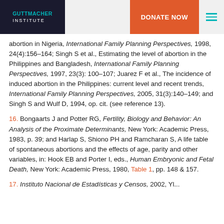GUTTMACHER INSTITUTE | DONATE NOW
abortion in Nigeria, International Family Planning Perspectives, 1998, 24(4):156–164; Singh S et al., Estimating the level of abortion in the Philippines and Bangladesh, International Family Planning Perspectives, 1997, 23(3): 100–107; Juarez F et al., The incidence of induced abortion in the Philippines: current level and recent trends, International Family Planning Perspectives, 2005, 31(3):140–149; and Singh S and Wulf D, 1994, op. cit. (see reference 13).
16. Bongaarts J and Potter RG, Fertility, Biology and Behavior: An Analysis of the Proximate Determinants, New York: Academic Press, 1983, p. 39; and Harlap S, Shiono PH and Ramcharan S, A life table of spontaneous abortions and the effects of age, parity and other variables, in: Hook EB and Porter I, eds., Human Embryonic and Fetal Death, New York: Academic Press, 1980, Table 1, pp. 148 & 157.
17. Institute National de Estadísticas y Censos, 2002, cited...